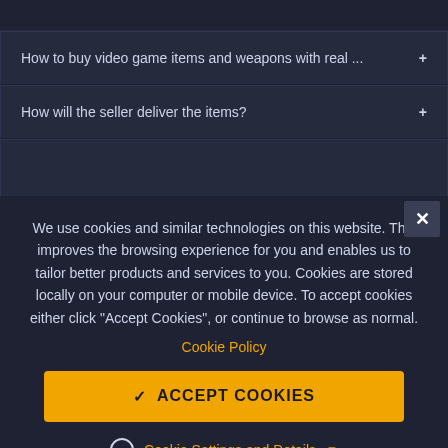How to buy video game items and weapons with real ...
How will the seller deliver the items?
We use cookies and similar technologies on this website. This improves the browsing experience for you and enables us to tailor better products and services to you. Cookies are stored locally on your computer or mobile device. To accept cookies either click "Accept Cookies", or continue to browse as normal.
Cookie Policy
ACCEPT COOKIES
Cookie Settings and Details